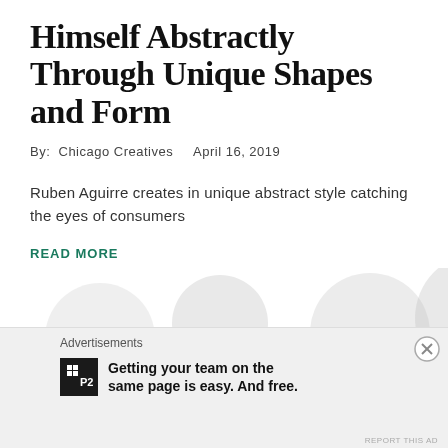Himself Abstractly Through Unique Shapes and Form
By:  Chicago Creatives    April 16, 2019
Ruben Aguirre creates in unique abstract style catching the eyes of consumers
READ MORE
Advertisements
P2  Getting your team on the same page is easy. And free.